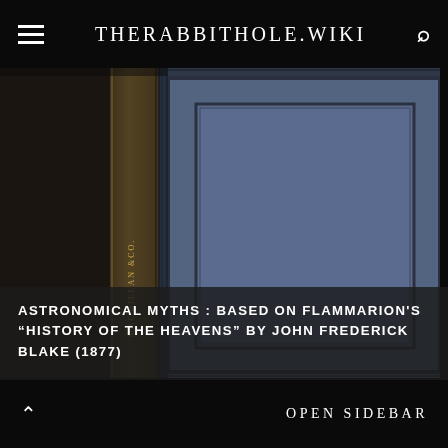THERABBITHOLE.WIKI
[Figure (photo): Close-up photograph of a blue hardcover book with decorative border on the cover. The spine shows text reading 'MACMILLAN &CO.' partially visible. The book cover is a deep steel blue with an inset rectangular border panel.]
ASTRONOMICAL MYTHS : BASED ON FLAMMARION'S “HISTORY OF THE HEAVENS” BY JOHN FREDERICK BLAKE (1877)
OPEN SIDEBAR